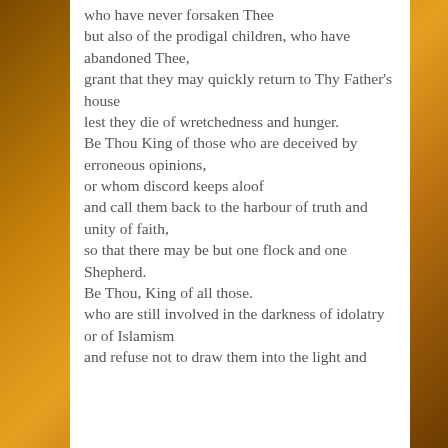who have never forsaken Thee
but also of the prodigal children, who have abandoned Thee,
grant that they may quickly return to Thy Father's house
lest they die of wretchedness and hunger.
Be Thou King of those who are deceived by erroneous opinions,
or whom discord keeps aloof
and call them back to the harbour of truth and unity of faith,
so that there may be but one flock and one Shepherd.
Be Thou, King of all those.
who are still involved in the darkness of idolatry or of Islamism
and refuse not to draw them into the light and